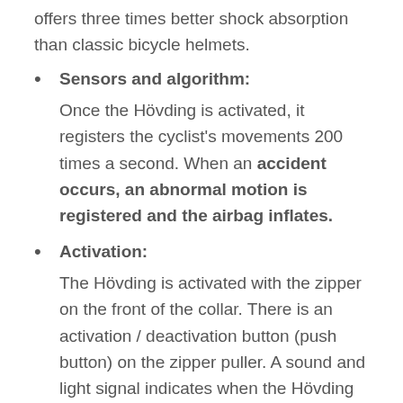offers three times better shock absorption than classic bicycle helmets.
Sensors and algorithm: Once the Hövding is activated, it registers the cyclist's movements 200 times a second. When an accident occurs, an abnormal motion is registered and the airbag inflates.
Activation: The Hövding is activated with the zipper on the front of the collar. There is an activation / deactivation button (push button) on the zipper puller. A sound and light signal indicates when the Hövding is activated. With intelligent driver sensitivity adjustment via the companion app, which adapts to your driving style